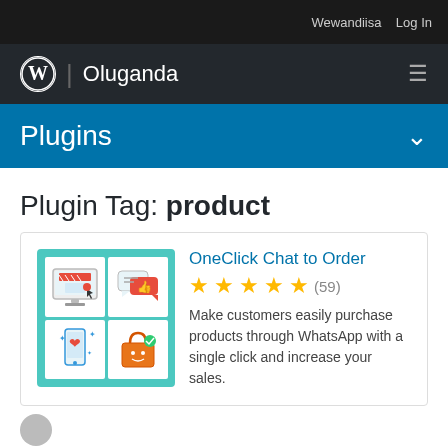Wewandiisa   Log In
Oluganda
Plugins
Plugin Tag: product
[Figure (illustration): Plugin icon grid showing e-commerce and WhatsApp chat icons in a 2x2 teal-bordered grid]
OneClick Chat to Order
★★★★★ (59)
Make customers easily purchase products through WhatsApp with a single click and increase your sales.